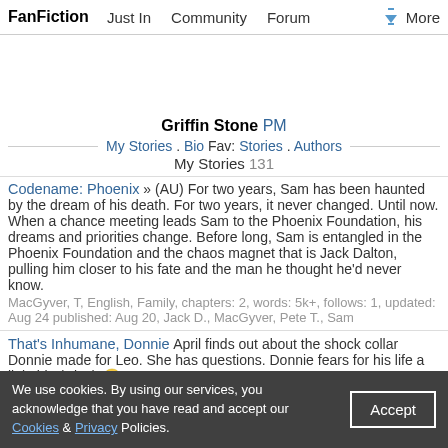FanFiction  Just In  Community  Forum  More
Griffin Stone PM
My Stories . Bio Fav: Stories . Authors
My Stories 131
Codename: Phoenix » (AU) For two years, Sam has been haunted by the dream of his death. For two years, it never changed. Until now. When a chance meeting leads Sam to the Phoenix Foundation, his dreams and priorities change. Before long, Sam is entangled in the Phoenix Foundation and the chaos magnet that is Jack Dalton, pulling him closer to his fate and the man he thought he'd never know.
MacGyver, T, English, Family, chapters: 2, words: 5k+, follows: 1, updated: Aug 24 published: Aug 20, Jack D., MacGyver, Pete T., Sam
That's Inhumane, Donnie April finds out about the shock collar Donnie made for Leo. She has questions. Donnie fears for his life a little bit. (Rise)
Teenage Mutant Ninja Turtles, K+, English, Humor & Angst, words: 1k+, favs: 4, follows: 1, Aug 17, Donatello, April O.
We use cookies. By using our services, you acknowledge that you have read and accept our Cookies & Privacy Policies.